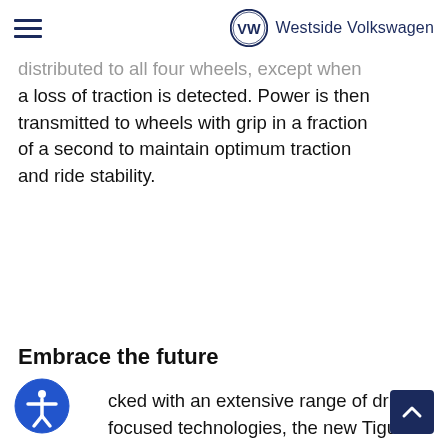Westside Volkswagen
distributed to all four wheels, except when a loss of traction is detected. Power is then transmitted to wheels with grip in a fraction of a second to maintain optimum traction and ride stability.
Embrace the future
cked with an extensive range of driver-focused technologies, the new Tiguan